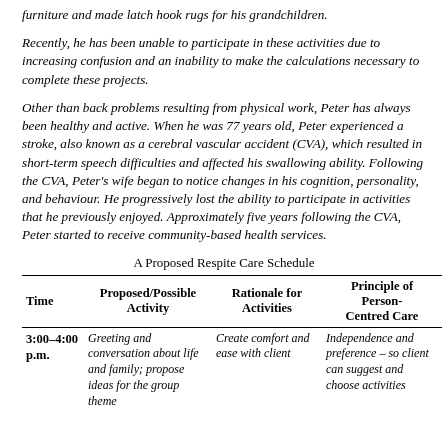furniture and made latch hook rugs for his grandchildren.
Recently, he has been unable to participate in these activities due to increasing confusion and an inability to make the calculations necessary to complete these projects.
Other than back problems resulting from physical work, Peter has always been healthy and active. When he was 77 years old, Peter experienced a stroke, also known as a cerebral vascular accident (CVA), which resulted in short-term speech difficulties and affected his swallowing ability. Following the CVA, Peter's wife began to notice changes in his cognition, personality, and behaviour. He progressively lost the ability to participate in activities that he previously enjoyed. Approximately five years following the CVA, Peter started to receive community-based health services.
A Proposed Respite Care Schedule
| Time | Proposed/Possible Activity | Rationale for Activities | Principle of Person-Centred Care |
| --- | --- | --- | --- |
| 3:00–4:00 p.m. | Greeting and conversation about life and family; propose ideas for the group theme | Create comfort and ease with client | Independence and preference – so client can suggest and choose activities |